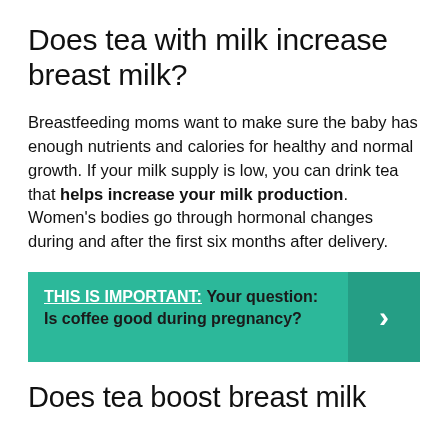Does tea with milk increase breast milk?
Breastfeeding moms want to make sure the baby has enough nutrients and calories for healthy and normal growth. If your milk supply is low, you can drink tea that helps increase your milk production. Women’s bodies go through hormonal changes during and after the first six months after delivery.
THIS IS IMPORTANT:  Your question: Is coffee good during pregnancy?
Does tea boost breast milk